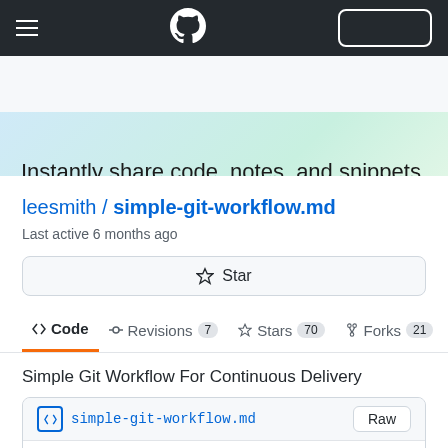GitHub navigation bar with hamburger menu, GitHub logo, and sign-in button
Instantly share code, notes, and snippets.
leesmith / simple-git-workflow.md
Last active 6 months ago
☆ Star
<> Code  -O-Revisions 7  ☆Stars 70  Forks 21
Simple Git Workflow For Continuous Delivery
simple-git-workflow.md  Raw